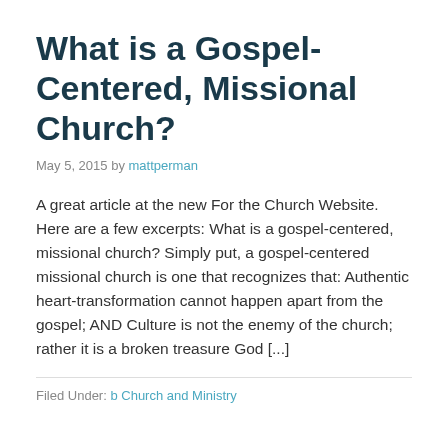What is a Gospel-Centered, Missional Church?
May 5, 2015 by mattperman
A great article at the new For the Church Website. Here are a few excerpts: What is a gospel-centered, missional church? Simply put, a gospel-centered missional church is one that recognizes that: Authentic heart-transformation cannot happen apart from the gospel; AND Culture is not the enemy of the church; rather it is a broken treasure God [...]
Filed Under: b Church and Ministry